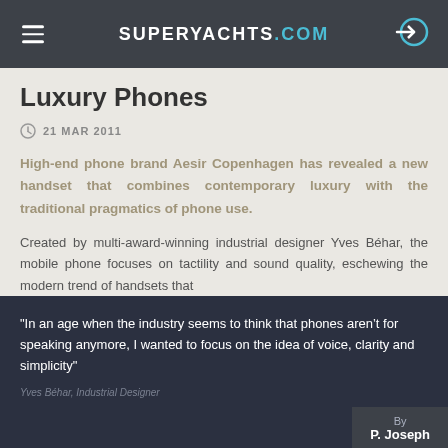SUPERYACHTS.COM
Luxury Phones
21 MAR 2011
High-end phone brand Aesir Copenhagen has revealed a new handset that combines contemporary luxury with the traditional pragmatics of phone use.
Created by multi-award-winning industrial designer Yves Béhar, the mobile phone focuses on tactility and sound quality, eschewing the modern trend of handsets that
"In an age when the industry seems to think that phones aren&rsquo;t for speaking anymore, I wanted to focus on the idea of voice, clarity and simplicity"
Yves Béhar, Industrial Designer
By P. Joseph